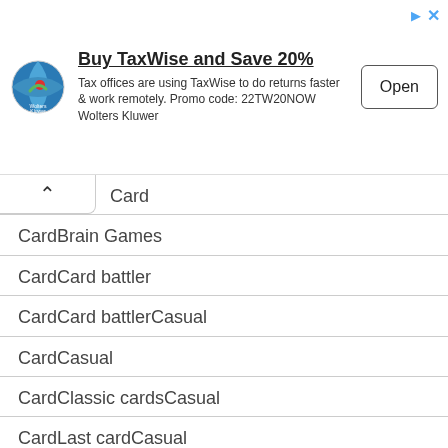[Figure (other): Wolters Kluwer logo: globe with red and green segments]
Buy TaxWise and Save 20%
Tax offices are using TaxWise to do returns faster & work remotely. Promo code: 22TW20NOW Wolters Kluwer
Open
Card
CardBrain Games
CardCard battler
CardCard battlerCasual
CardCasual
CardClassic cardsCasual
CardLast cardCasual
CardSolitaire
CardSolitaireCasual